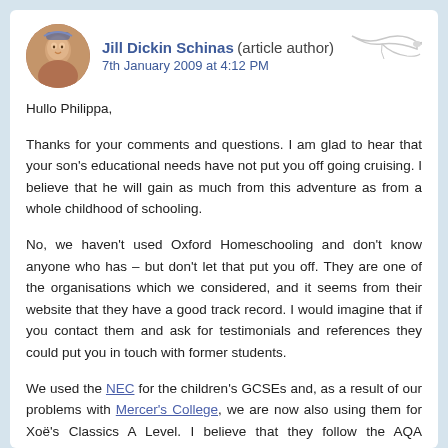Jill Dickin Schinas (article author)
7th January 2009 at 4:12 PM
Hullo Philippa,
Thanks for your comments and questions. I am glad to hear that your son's educational needs have not put you off going cruising. I believe that he will gain as much from this adventure as from a whole childhood of schooling.
No, we haven't used Oxford Homeschooling and don't know anyone who has – but don't let that put you off. They are one of the organisations which we considered, and it seems from their website that they have a good track record. I would imagine that if you contact them and ask for testimonials and references they could put you in touch with former students.
We used the NEC for the children's GCSEs and, as a result of our problems with Mercer's College, we are now also using them for Xoë's Classics A Level. I believe that they follow the AQA syllabuses for most of their GCSE courses.
You will need to be sure that the courses which you choose for your